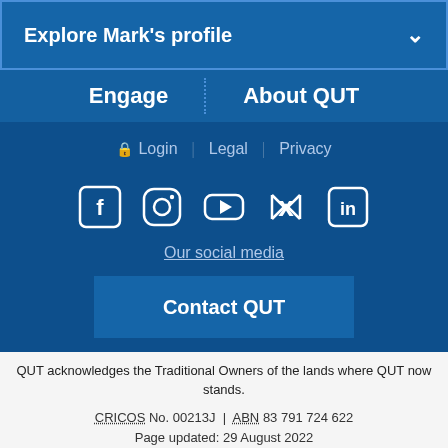Explore Mark's profile
Engage | About QUT
Login | Legal | Privacy
[Figure (other): Social media icons: Facebook, Instagram, YouTube, Twitter, LinkedIn]
Our social media
Contact QUT
QUT acknowledges the Traditional Owners of the lands where QUT now stands.
CRICOS No. 00213J | ABN 83 791 724 622
Page updated: 29 August 2022